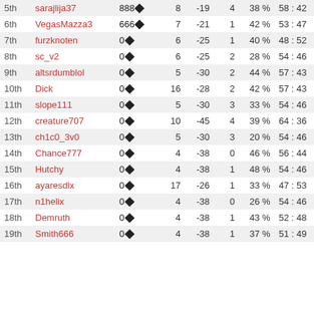| Rank | Name | Score | Col1 | Col2 | Col3 | Col4 | Col5 |
| --- | --- | --- | --- | --- | --- | --- | --- |
| 5th | sarajlija37 | 888♦ | 8 | -19 | 4 | 38 % | 58 : 42 |
| 6th | VegasMazza3 | 666♦ | 7 | -21 | 1 | 42 % | 53 : 47 |
| 7th | furzknoten | 0♦ | 6 | -25 | 1 | 40 % | 48 : 52 |
| 8th | sc_v2 | 0♦ | 6 | -25 | 2 | 28 % | 54 : 46 |
| 9th | altsrdumblol | 0♦ | 5 | -30 | 2 | 44 % | 57 : 43 |
| 10th | Dick | 0♦ | 16 | -28 | 2 | 42 % | 57 : 43 |
| 11th | slope111 | 0♦ | 5 | -30 | 3 | 33 % | 54 : 46 |
| 12th | creature707 | 0♦ | 10 | -45 | 4 | 39 % | 64 : 36 |
| 13th | ch1c0_3v0 | 0♦ | 5 | -30 | 3 | 20 % | 54 : 46 |
| 14th | Chance777 | 0♦ | 4 | -38 | 0 | 46 % | 56 : 44 |
| 15th | Hutchy | 0♦ | 4 | -38 | 1 | 48 % | 54 : 46 |
| 16th | ayaresdlx | 0♦ | 17 | -26 | 1 | 33 % | 47 : 53 |
| 17th | n1helix | 0♦ | 4 | -38 | 0 | 26 % | 54 : 46 |
| 18th | Demruth | 0♦ | 4 | -38 | 1 | 43 % | 52 : 48 |
| 19th | Smith666 | 0♦ | 4 | -38 | 1 | 37 % | 51 : 49 |